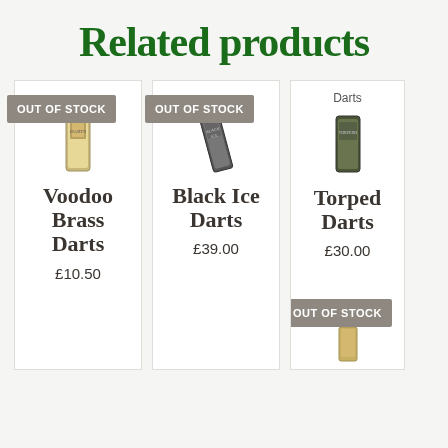Related products
[Figure (photo): Product card for Voodoo Brass Darts, showing OUT OF STOCK badge and dart package image]
Voodoo Brass Darts
£10.50
[Figure (photo): Product card for Black Ice Darts, showing OUT OF STOCK badge and dart package image]
Black Ice Darts
£39.00
[Figure (photo): Product card for Torpedo Darts (partially cut off), showing Darts category label, dart package image, price £30.00, and OUT OF STOCK badge at bottom]
Torpedo Darts
£30.00